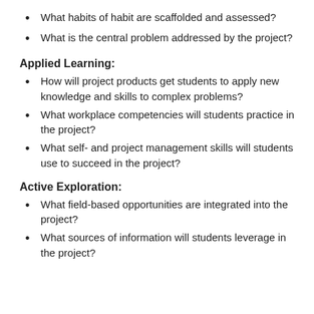What habits of habit are scaffolded and assessed?
What is the central problem addressed by the project?
Applied Learning:
How will project products get students to apply new knowledge and skills to complex problems?
What workplace competencies will students practice in the project?
What self- and project management skills will students use to succeed in the project?
Active Exploration:
What field-based opportunities are integrated into the project?
What sources of information will students leverage in the project?